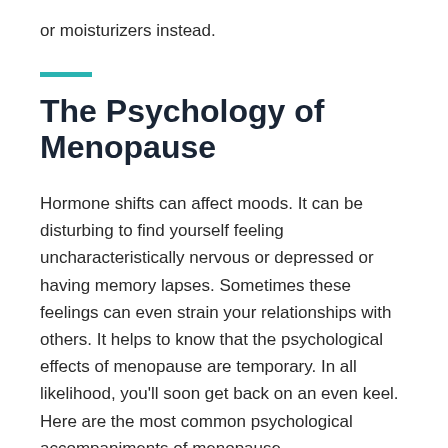or moisturizers instead.
The Psychology of Menopause
Hormone shifts can affect moods. It can be disturbing to find yourself feeling uncharacteristically nervous or depressed or having memory lapses. Sometimes these feelings can even strain your relationships with others. It helps to know that the psychological effects of menopause are temporary. In all likelihood, you'll soon get back on an even keel. Here are the most common psychological accompaniments of menopause.
Anxiety. Women who have never had a problem with